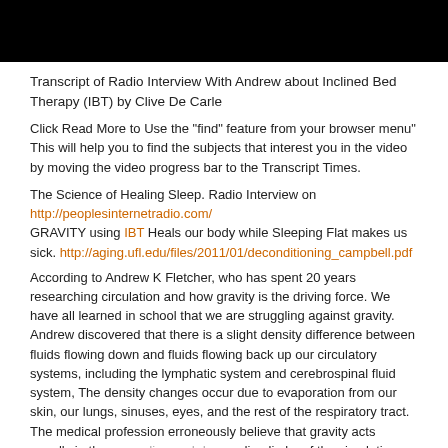[Figure (photo): Black rectangular bar at the top of the page, likely a video thumbnail header.]
Transcript of Radio Interview With Andrew about Inclined Bed Therapy (IBT) by Clive De Carle
Click Read More to Use the "find" feature from your browser menu" This will help you to find the subjects that interest you in the video by moving the video progress bar to the Transcript Times.
The Science of Healing Sleep. Radio Interview on http://peoplesinternetradio.com/ GRAVITY using IBT Heals our body while Sleeping Flat makes us sick. http://aging.ufl.edu/files/2011/01/deconditioning_campbell.pdf
According to Andrew K Fletcher, who has spent 20 years researching circulation and how gravity is the driving force. We have all learned in school that we are struggling against gravity. Andrew discovered that there is a slight density difference between fluids flowing down and fluids flowing back up our circulatory systems, including the lymphatic system and cerebrospinal fluid system, The density changes occur due to evaporation from our skin, our lungs, sinuses, eyes, and the rest of the respiratory tract. The medical profession erroneously believe that gravity acts equally in the ascending and descending limbs of the circulation. Andrew explains why this is not the case. he also investigated the History of sleep to find answers to why without any